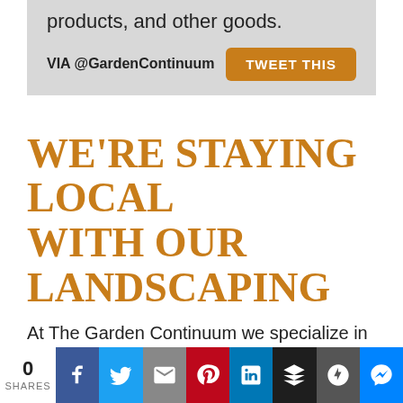products, and other goods.
VIA @GardenContinuum
TWEET THIS
WE'RE STAYING LOCAL WITH OUR LANDSCAPING
At The Garden Continuum we specialize in regenerative landscaping and are hyper-focused on horticulture and the soil that supports it. We're also bullish on our local communities and
0 SHARES [social share bar]